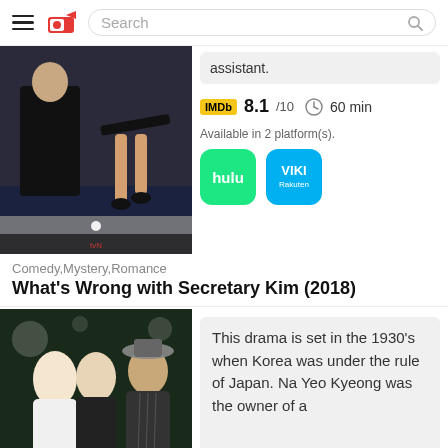Search
[Figure (photo): Two people sitting on a dark sofa dressed in black formal wear - promotional image for What's Wrong with Secretary Kim (2018)]
assistant.
IMDb 8.1/10  60 min
Available in 2 platform(s).
[Figure (logo): Hulu logo - green rounded square]
[Figure (logo): VIKI Rakuten logo - blue rounded square]
Comedy,Mystery,Romance
What's Wrong with Secretary Kim (2018)
[Figure (photo): Promotional image for a 1930s Korean drama - three people in period costumes]
This drama is set in the 1930's when Korea was under the rule of Japan. Na Yeo Kyeong was the owner of a